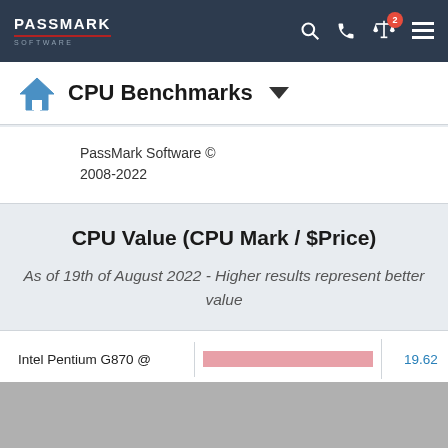PassMark Software — Navigation bar with logo, search, phone, compare (2 items), menu icons
CPU Benchmarks
PassMark Software © 2008-2022
CPU Value (CPU Mark / $Price)
As of 19th of August 2022 - Higher results represent better value
| CPU Name | Bar | Value |
| --- | --- | --- |
| Intel Pentium G870 @ |  | 19.62 |